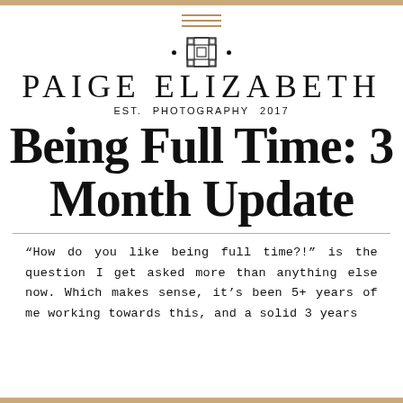[Figure (logo): Hamburger menu icon (three horizontal tan lines) at the top center]
[Figure (logo): Paige Elizabeth Photography decorative logo icon — a cross/grid symbol flanked by two dots]
PAIGE ELIZABETH
EST.   PHOTOGRAPHY   2017
Being Full Time: 3 Month Update
“How do you like being full time?!” is the question I get asked more than anything else now. Which makes sense, it’s been 5+ years of me working towards this, and a solid 3 years